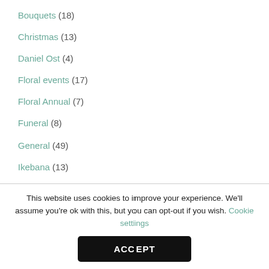Bouquets (18)
Christmas (13)
Daniel Ost (4)
Floral events (17)
Floral Annual (7)
Funeral (8)
General (49)
Ikebana (13)
Interior Decorations (15)
Jewelry & hairstyles (7)
Wedding (36)
This website uses cookies to improve your experience. We'll assume you're ok with this, but you can opt-out if you wish. Cookie settings
ACCEPT